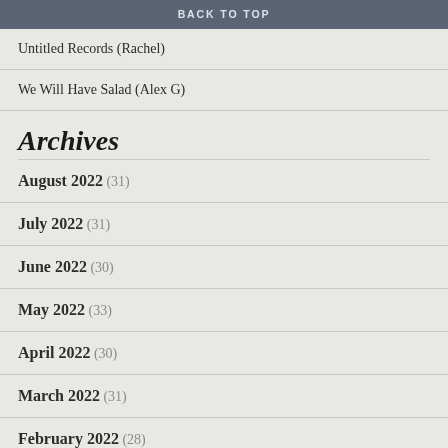BACK TO TOP
Untitled Records (Rachel)
We Will Have Salad (Alex G)
Archives
August 2022 (31)
July 2022 (31)
June 2022 (30)
May 2022 (33)
April 2022 (30)
March 2022 (31)
February 2022 (28)
January 2022 (31)
December 2021 (30)